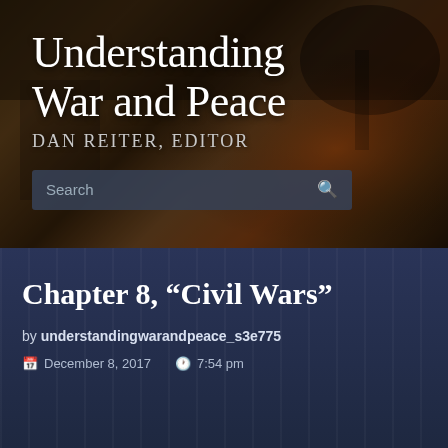[Figure (photo): Dark, painterly background image of a battle scene with fire, ruins, and trees, overlaid with a semi-transparent dark filter]
Understanding War and Peace
DAN REITER, EDITOR
[Figure (screenshot): Search bar with placeholder text 'Search' and a magnifying glass icon on a dark blue-grey background]
Chapter 8, “Civil Wars”
by understandingwarandpeace_s3e775
December 8, 2017   7:54 pm